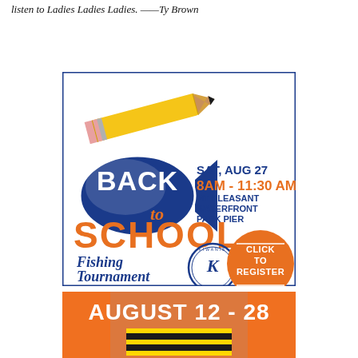listen to Ladies Ladies Ladies. ——Ty Brown
[Figure (illustration): Back to School Fishing Tournament advertisement. Features a pencil illustration at top, a fish logo with 'BACK to SCHOOL' text in blue and orange, date SAT, AUG 27 8AM - 11:30 AM at MT PLEASANT WATERFRONT PARK PIER, Kiwanis International logo, orange circle with CLICK TO REGISTER, and East Cooper - Mt. Pleasant Kiwanis Club text at bottom.]
[Figure (illustration): Advertisement showing a person in orange shirt/apron holding a sign, with bold white text 'AUGUST 12 - 28' at the top and yellow/black text at the bottom (partially visible).]